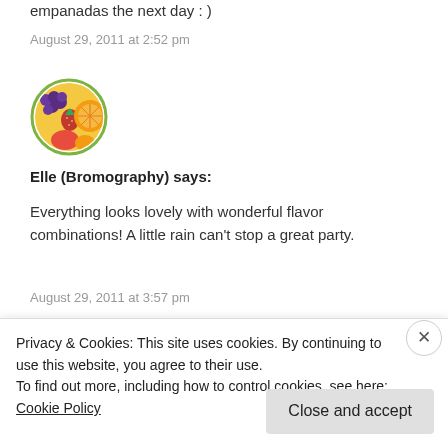empanadas the next day : )
August 29, 2011 at 2:52 pm
[Figure (illustration): Circular avatar with green border showing a photo of colorful fruits including grapes, strawberry, and orange slices.]
Elle (Bromography) says:
Everything looks lovely with wonderful flavor combinations! A little rain can't stop a great party.
August 29, 2011 at 3:57 pm
Privacy & Cookies: This site uses cookies. By continuing to use this website, you agree to their use.
To find out more, including how to control cookies, see here: Cookie Policy
Close and accept